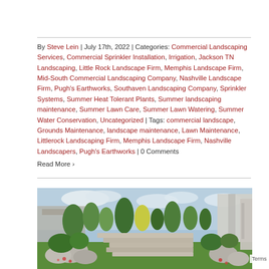By Steve Lein | July 17th, 2022 | Categories: Commercial Landscaping Services, Commercial Sprinkler Installation, Irrigation, Jackson TN Landscaping, Little Rock Landscape Firm, Memphis Landscape Firm, Mid-South Commercial Landscaping Company, Nashville Landscape Firm, Pugh's Earthworks, Southaven Landscaping Company, Sprinkler Systems, Summer Heat Tolerant Plants, Summer landscaping maintenance, Summer Lawn Care, Summer Lawn Watering, Summer Water Conservation, Uncategorized | Tags: commercial landscape, Grounds Maintenance, landscape maintenance, Lawn Maintenance, Littlerock Landscaping Firm, Memphis Landscape Firm, Nashville Landscapers, Pugh's Earthworks | 0 Comments
Read More ›
[Figure (photo): Outdoor commercial landscaping photograph showing a formal garden with large decorative rocks, ornamental trees, stepped stone pathway, manicured lawn, and a modern building in the background under a partly cloudy sky.]